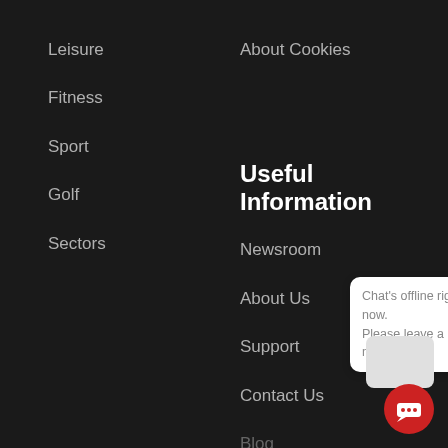Leisure
Fitness
Sport
Golf
Sectors
About Cookies
Useful Information
Newsroom
About Us
Support
Contact Us
Blog
Chat's offline right now.
Please leave a message.